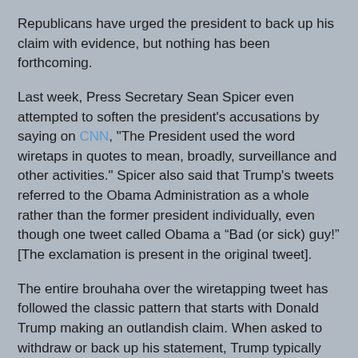Republicans have urged the president to back up his claim with evidence, but nothing has been forthcoming.
Last week, Press Secretary Sean Spicer even attempted to soften the president's accusations by saying on CNN, "The President used the word wiretaps in quotes to mean, broadly, surveillance and other activities." Spicer also said that Trump's tweets referred to the Obama Administration as a whole rather than the former president individually, even though one tweet called Obama a “Bad (or sick) guy!” [The exclamation is present in the original tweet].
The entire brouhaha over the wiretapping tweet has followed the classic pattern that starts with Donald Trump making an outlandish claim. When asked to withdraw or back up his statement, Trump typically doubles down without providing evidence. At that point, pundits start twisting facts as well as the president’s words to make each match the other.
At this point, there are numerous loose ends to tie up. The FBI investigation of Russian meddling and links to Team